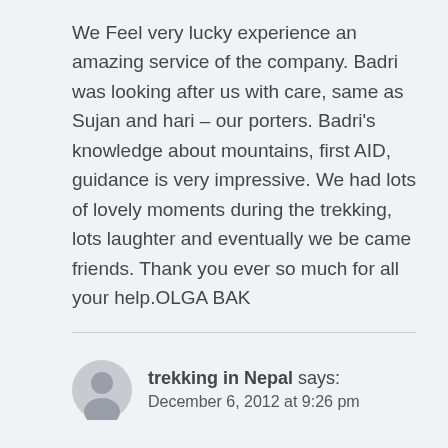We Feel very lucky experience an amazing service of the company. Badri was looking after us with care, same as Sujan and hari – our porters. Badri's knowledge about mountains, first AID, guidance is very impressive. We had lots of lovely moments during the trekking, lots laughter and eventually we be came friends. Thank you ever so much for all your help.OLGA BAK
trekking in Nepal says: December 6, 2012 at 9:26 pm